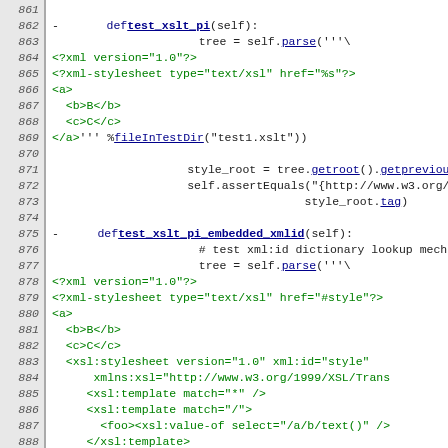[Figure (screenshot): Source code viewer showing Python test code with line numbers 861–890. Lines show test methods test_xslt_pi and test_xslt_pi_embedded_xmlid with XML content strings.]